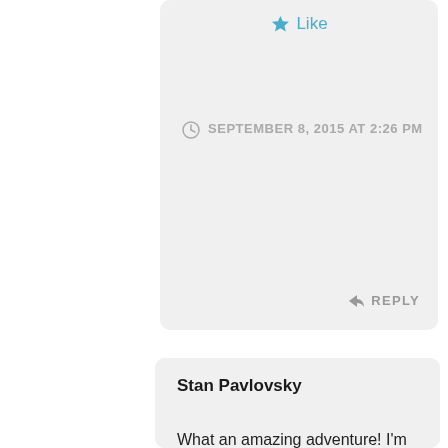[Figure (illustration): Like button with blue star icon]
SEPTEMBER 8, 2015 AT 2:26 PM
REPLY
[Figure (illustration): Green pixel/mosaic avatar icon for Stan Pavlovsky]
Stan Pavlovsky
What an amazing adventure! I'm really excited for you Stacy. And, what a cool way to end the trip; the conservatory sounds amazing. Not the usual